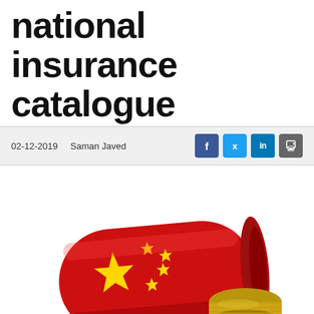national insurance catalogue
02-12-2019   Saman Javed
[Figure (photo): A red pill bottle decorated with the Chinese flag (red with yellow stars) lying on its side with white tablets and a gold cap spilled out, on a white reflective surface.]